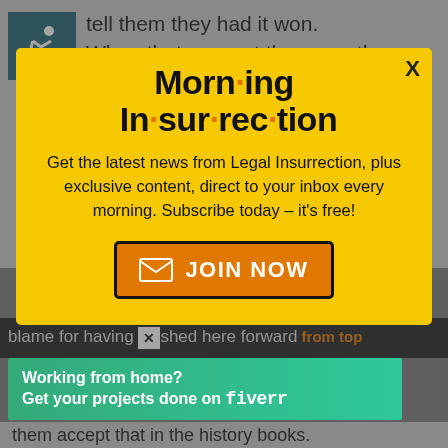tell them they had it won. When that was not the case, they looked for who to blame when they found that it was THEM or the voters and that the deplorables had beaten
[Figure (logo): Wheelchair accessibility icon in teal/dark teal square]
[Figure (infographic): Yellow modal popup for Morning Insurrection newsletter subscription with orange dot separators in title, description text and JOIN NOW orange button with envelope icon]
blame for having [X] shed here forward...
[Figure (infographic): Green Fiverr advertisement banner: Working from home? Get your projects done on fiverr]
them accept that in the history books.